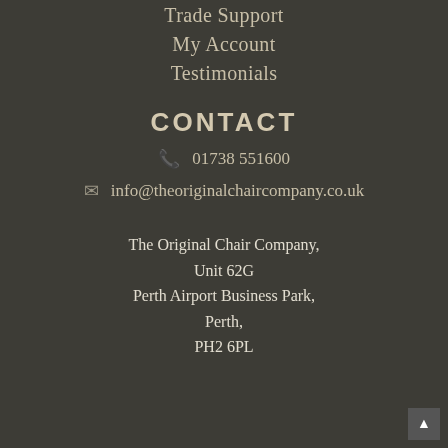Trade Support
My Account
Testimonials
CONTACT
01738 551600
info@theoriginalchaircompany.co.uk
The Original Chair Company,
Unit 62G
Perth Airport Business Park,
Perth,
PH2 6PL